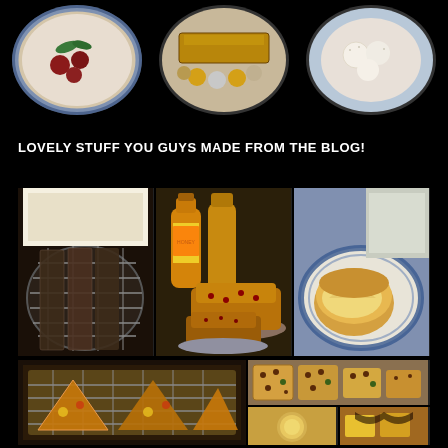[Figure (photo): Top row of three circular food photos: left shows meatballs/strawberries on a blue floral plate with herbs; center shows granola bar and round sweets/nuts scattered; right shows coconut balls on a blue plate.]
LOVELY STUFF YOU GUYS MADE FROM THE BLOG!
[Figure (photo): Grid of food photos: top-left shows chocolate/seed bars on a wire cooling rack; top-center shows honey bottles and a fruit loaf; top-right shows a split bread roll on a blue floral plate; bottom-left shows pizza/pastries on a baking tray with a wire rack; bottom-right-top shows sliced fruit cake with raisins; bottom-right-bottom shows two smaller food photos side by side.]